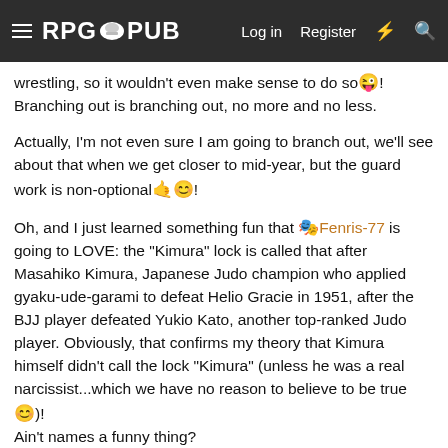RPG PUB — Log in  Register
wrestling, so it wouldn't even make sense to do so😜! Branching out is branching out, no more and no less.
Actually, I'm not even sure I am going to branch out, we'll see about that when we get closer to mid-year, but the guard work is non-optional🤙😊!
Oh, and I just learned something fun that 🎭Fenris-77 is going to LOVE: the "Kimura" lock is called that after Masahiko Kimura, Japanese Judo champion who applied gyaku-ude-garami to defeat Helio Gracie in 1951, after the BJJ player defeated Yukio Kato, another top-ranked Judo player. Obviously, that confirms my theory that Kimura himself didn't call the lock "Kimura" (unless he was a real narcissist...which we have no reason to believe to be true😊)!
Ain't names a funny thing?
And here's a very good breakdown of the Kimura lock and all the benefits that come with it:
[Figure (screenshot): Video preview thumbnail with person's face and title 'Kimura Lock Details That Will Blow Your Mind' in orange text]